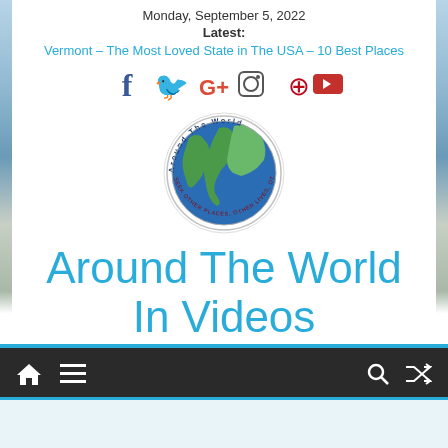Monday, September 5, 2022
Latest:
Vermont – The Most Loved State in The USA – 10 Best Places
[Figure (logo): Social media icons: Facebook, Twitter, Google+, Instagram, Pinterest, YouTube]
[Figure (logo): Around The World circular logo with globe image and text 'SEEK OTHER PLACES, OTHER LIVES, OTHER SOUL']
Around The World In Videos
The Best Places To Live – The Best Places To Travel